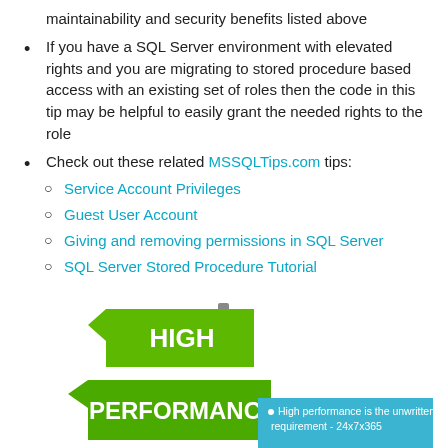maintainability and security benefits listed above
If you have a SQL Server environment with elevated rights and you are migrating to stored procedure based access with an existing set of roles then the code in this tip may be helpful to easily grant the needed rights to the role
Check out these related MSSQLTips.com tips:
Service Account Privileges
Guest User Account
Giving and removing permissions in SQL Server
SQL Server Stored Procedure Tutorial
[Figure (infographic): Green road sign style graphic showing 'HIGH' on top sign and 'PERFORMANCE' on lower sign, with a blue info box on the right reading 'High performance is the unwritten requirement - 24x7x365']